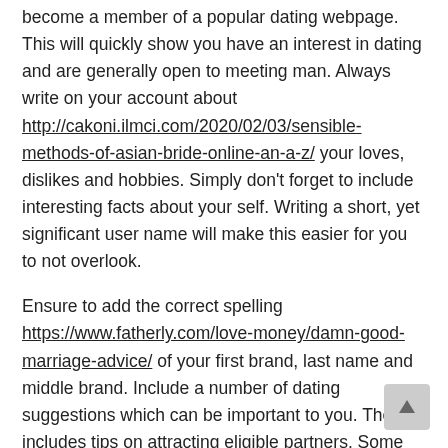become a member of a popular dating webpage. This will quickly show you have an interest in dating and are generally open to meeting man. Always write on your account about http://cakoni.ilmci.com/2020/02/03/sensible-methods-of-asian-bride-online-an-a-z/ your loves, dislikes and hobbies. Simply don't forget to include interesting facts about your self. Writing a short, yet significant user name will make this easier for you to not overlook.
Ensure to add the correct spelling https://www.fatherly.com/love-money/damn-good-marriage-advice/ of your first brand, last name and middle brand. Include a number of dating suggestions which can be important to you. These includes tips on attracting eligible partners. Some terrific online dating tips for powerful profile brands include: Birdwatcher, Busy Lady, Canadian Family, Father of 3 and Mom of Seven.
Leaving a comment frequently with your profile: A further one of